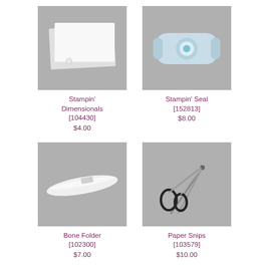[Figure (photo): Stampin' Dimensionals foam adhesive squares on gray background]
Stampin' Dimensionals [104430] $4.00
[Figure (photo): Stampin' Seal adhesive roller on gray background]
Stampin' Seal [152813] $8.00
[Figure (photo): Bone Folder tool on gray background]
Bone Folder [102300] $7.00
[Figure (photo): Paper Snips scissors on gray background]
Paper Snips [103579] $10.00